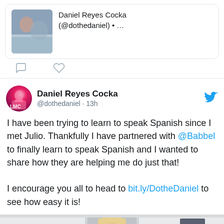[Figure (screenshot): Top portion of a tweet card showing a photo thumbnail on the left and text 'Daniel Reyes Cocka (@dothedaniel) • ...' on the right, with a white rounded card border]
[Figure (infographic): Action row with comment bubble icon and heart icon]
Daniel Reyes Cocka @dothedaniel · 13h
I have been trying to learn to speak Spanish since I met Julio. Thankfully I have partnered with @Babbel to finally learn to speak Spanish and I wanted to share how they are helping me do just that!

I encourage you all to head to bit.ly/DotheDaniel to see how easy it is!
[Figure (photo): Photo of a man with bleached blond hair smiling at camera, standing in a doorway of a room]